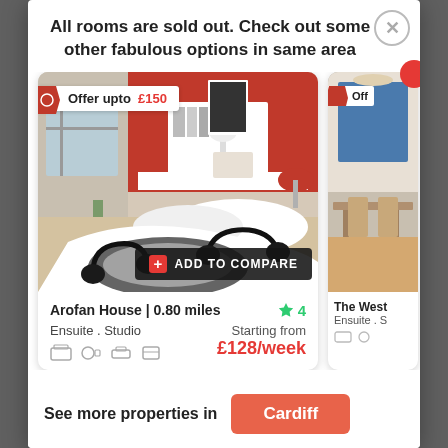All rooms are sold out. Check out some other fabulous options in same area
[Figure (photo): Hotel room with red accent wall, black and white headphone printed bedding, desk area — Arofan House listing card. Offer badge: Offer upto £150. Add to compare button.]
Arofan House | 0.80 miles
★ 4
Ensuite . Studio
Starting from
£128/week
[Figure (photo): Partial view of second property listing card — The West... Ensuite.]
See more properties in
Cardiff